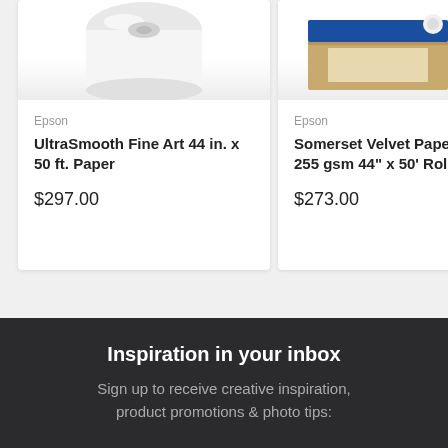[Figure (photo): Epson paper roll product image (white roll of paper), partially cropped at top]
Epson
UltraSmooth Fine Art 44 in. x 50 ft. Paper
$297.00
[Figure (photo): Epson Somerset Velvet Paper box product image, partially cropped at top]
Epson
Somerset Velvet Paper 255 gsm 44" x 50' Roll
$273.00
Inspiration in your inbox
Sign up to receive creative inspiration, product promotions & photo tips: